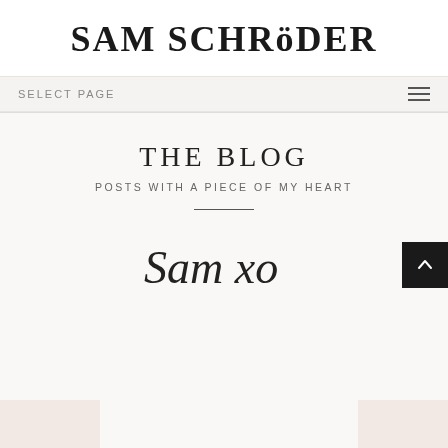SAM SCHRöDER
SELECT PAGE
THE BLOG
POSTS WITH A PIECE OF MY HEART
[Figure (illustration): Handwritten cursive signature reading 'Sam xo']